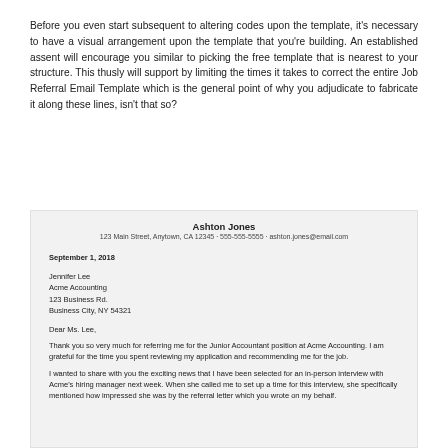Before you even start subsequent to altering codes upon the template, it's necessary to have a visual arrangement upon the template that you're building. An established assent will encourage you similar to picking the free template that is nearest to your structure. This thusly will support by limiting the times it takes to correct the entire Job Referral Email Template which is the general point of why you adjudicate to fabricate it along these lines, isn't that so?
[Figure (other): A sample referral thank-you letter from Ashton Jones addressed to Jennifer Lee at Acme Accounting, dated September 1, 2018, thanking her for the referral for a Junior Accountant position and sharing news of an interview.]